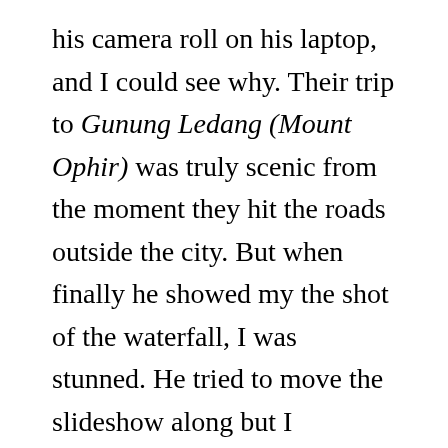his camera roll on his laptop, and I could see why. Their trip to Gunung Ledang (Mount Ophir) was truly scenic from the moment they hit the roads outside the city. But when finally he showed my the shot of the waterfall, I was stunned. He tried to move the slideshow along but I wouldn't let him. For the next few minutes, I just kept watching the shot, and my mind already knew that I have to be there. Soon. My thirst for traveling and love for photography both had to be drenched in those waters.

So a few weeks a later when me and some pals set out for our unforgettable road trip